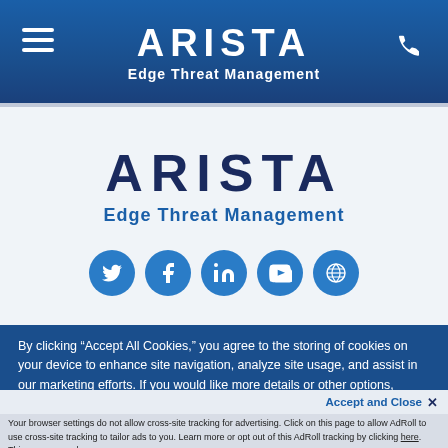ARISTA Edge Threat Management
[Figure (logo): Arista Edge Threat Management logo with social media icons (Twitter, Facebook, LinkedIn, YouTube, Globe)]
By clicking “Accept All Cookies,” you agree to the storing of cookies on your device to enhance site navigation, analyze site usage, and assist in our marketing efforts. If you would like more details or other options, please review the Cookie Settings.
Accept and Close ×
Your browser settings do not allow cross-site tracking for advertising. Click on this page to allow AdRoll to use cross-site tracking to tailor ads to you. Learn more or opt out of this AdRoll tracking by clicking here. This message only appears once.